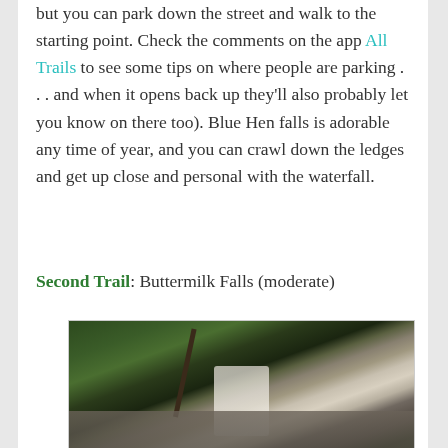but you can park down the street and walk to the starting point. Check the comments on the app All Trails to see some tips on where people are parking . . . and when it opens back up they'll also probably let you know on there too). Blue Hen falls is adorable any time of year, and you can crawl down the ledges and get up close and personal with the waterfall.
Second Trail: Buttermilk Falls (moderate)
[Figure (photo): Photo of Buttermilk Falls waterfall cascading down rocky ledges surrounded by green forest vegetation, with a fallen tree in the foreground.]